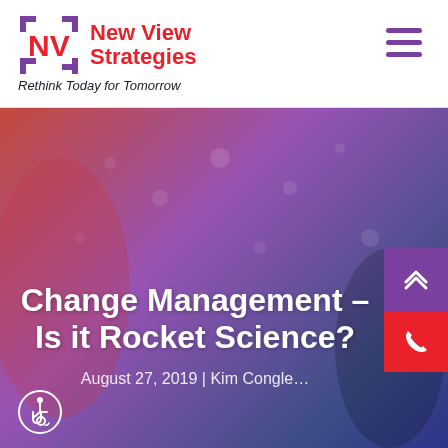[Figure (logo): New View Strategies logo with NV in blue bracket square and brand name in red, with tagline below]
Change Management – Is it Rocket Science?
August 27, 2019 | Kim Congle...
[Figure (illustration): Hero banner with gradient background (red to purple to dark blue), scattered dots, person/astronaut silhouette, email envelope button, scroll-to-top button, phone button, and accessibility icon]